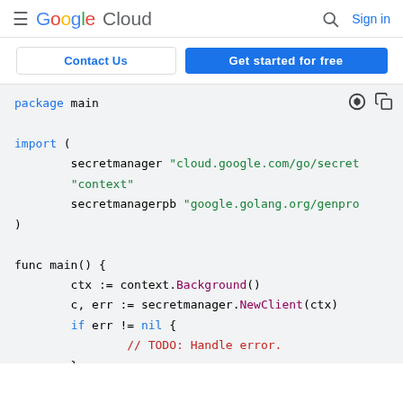Google Cloud — Search | Sign in
Contact Us | Get started for free
[Figure (screenshot): Google Cloud code snippet in Go showing package main, import of secretmanager and context packages, and func main with ctx := context.Background(), c, err := secretmanager.NewClient(ctx), if err != nil { // TODO: Handle error. }]